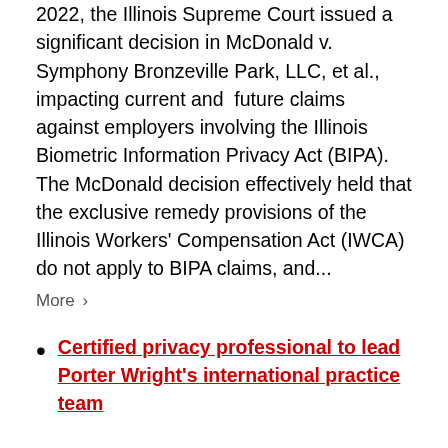2022, the Illinois Supreme Court issued a significant decision in McDonald v. Symphony Bronzeville Park, LLC, et al., impacting current and future claims against employers involving the Illinois Biometric Information Privacy Act (BIPA). The McDonald decision effectively held that the exclusive remedy provisions of the Illinois Workers' Compensation Act (IWCA) do not apply to BIPA claims, and...
More >
Certified privacy professional to lead Porter Wright's international practice team